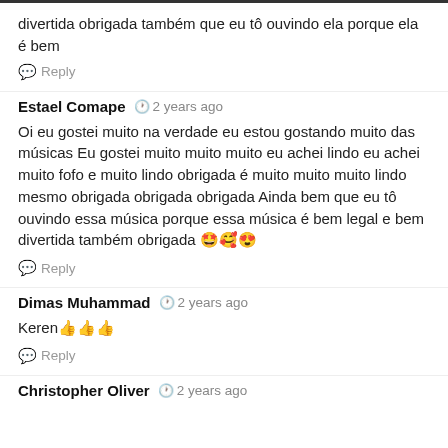divertida obrigada também que eu tô ouvindo ela porque ela é bem
Reply
Estael Comape  2 years ago
Oi eu gostei muito na verdade eu estou gostando muito das músicas Eu gostei muito muito muito eu achei lindo eu achei muito fofo e muito lindo obrigada é muito muito muito lindo mesmo obrigada obrigada obrigada Ainda bem que eu tô ouvindo essa música porque essa música é bem legal e bem divertida também obrigada 🤩🥰😍
Reply
Dimas Muhammad  2 years ago
Keren👍👍👍
Reply
Christopher Oliver  2 years ago